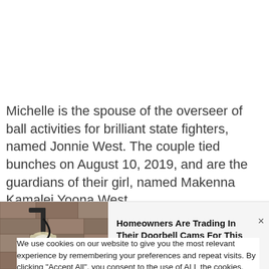Michelle is the spouse of the overseer of ball activities for brilliant state fighters, named Jonnie West. The couple tied bunches on August 10, 2019, and are the guardians of their girl, named Makenna Kamalei Yoona West.
However the woman has reported finishing her
We use cookies on our website to give you the most relevant experience by remembering your preferences and repeat visits. By clicking "Accept All", you consent to the use of ALL the cookies. However, you may visit "Cookie Settings" to provide a controlled consent.
[Figure (photo): Outdoor wall-mounted lamp/light fixture on a stone or stucco wall]
Homeowners Are Trading In Their Doorbell Cams For This
Camerca | Sponsored